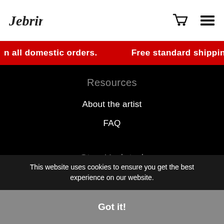[Logo] [Cart icon] [Menu icon]
n all domestic orders.   Free standard shipping o
Resources
About the artist
FAQ
Stay Updated
Facebook
Instagram
This website uses cookies to ensure you get the best experience on our website.
Got it!